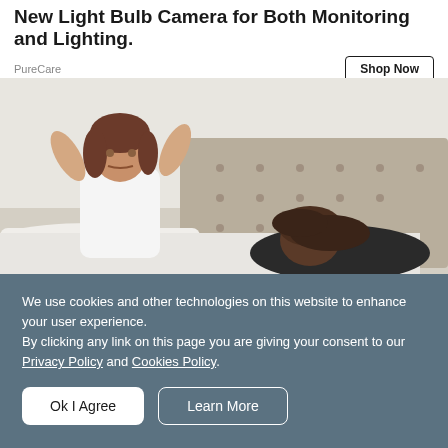New Light Bulb Camera for Both Monitoring and Lighting.
PureCare
Shop Now
[Figure (photo): Two people on a bed: a woman in a white tank top sitting up with arms raised in an exasperated gesture, and another person face-down on the bed in a dark top.]
We use cookies and other technologies on this website to enhance your user experience.
By clicking any link on this page you are giving your consent to our Privacy Policy and Cookies Policy.
Ok I Agree
Learn More